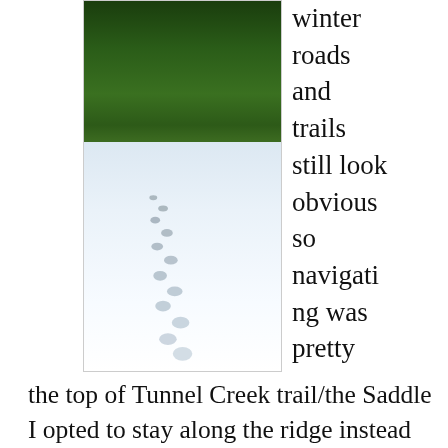[Figure (photo): A snowy winter forest trail with animal footprints leading across a snow-covered open area, with tall evergreen trees in the background under a blue sky.]
winter roads and trails still look obvious so navigating was pretty easy.  When I reached the top of Tunnel Creek trail/the Saddle I opted to stay along the ridge instead of dropping down to Twin Lakes.  So it was spring time, and not sure why I'd not considered this in my